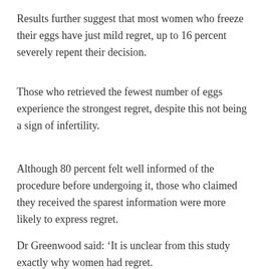Results further suggest that most women who freeze their eggs have just mild regret, up to 16 percent severely repent their decision.
Those who retrieved the fewest number of eggs experience the strongest regret, despite this not being a sign of infertility.
Although 80 percent felt well informed of the procedure before undergoing it, those who claimed they received the sparest information were more likely to express regret.
Dr Greenwood said: ‘It is unclear from this study exactly why women had regret.